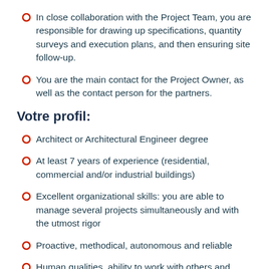In close collaboration with the Project Team, you are responsible for drawing up specifications, quantity surveys and execution plans, and then ensuring site follow-up.
You are the main contact for the Project Owner, as well as the contact person for the partners.
Votre profil:
Architect or Architectural Engineer degree
At least 7 years of experience (residential, commercial and/or industrial buildings)
Excellent organizational skills: you are able to manage several projects simultaneously and with the utmost rigor
Proactive, methodical, autonomous and reliable
Human qualities, ability to work with others and respect